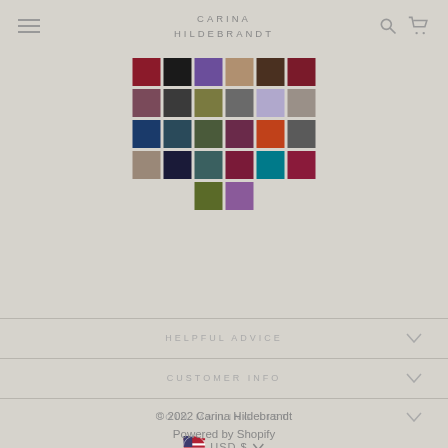CARINA HILDEBRANDT
[Figure (illustration): Grid of color swatches in various colors including burgundy, black, purple, tan, dark brown, dark red, mauve, dark gray, olive, slate, lavender, gray, navy, dark navy, dark olive, dark purple, orange-red, dark gray, taupe, dark navy, teal-gray, dark maroon, teal, dark maroon, olive green, purple]
HELPFUL ADVICE
CUSTOMER INFO
JOIN MAILING LIST
USD $
© 2022 Carina Hildebrandt
Powered by Shopify